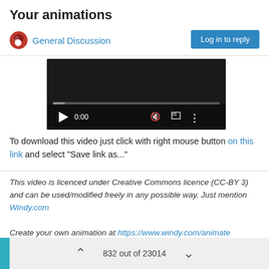Your animations
General Discussion
Log in to reply
[Figure (screenshot): Embedded video player showing 0:00 timestamp with play button, mute icon, fullscreen icon and more options icon, with a progress bar at the bottom]
To download this video just click with right mouse button on this link and select "Save link as..."
This video is licenced under Creative Commons licence (CC-BY 3) and can be used/modified freely in any possible way. Just mention Windy.com

Create your own animation at https://www.windy.com/animate
0  (like button)
832 out of 23014